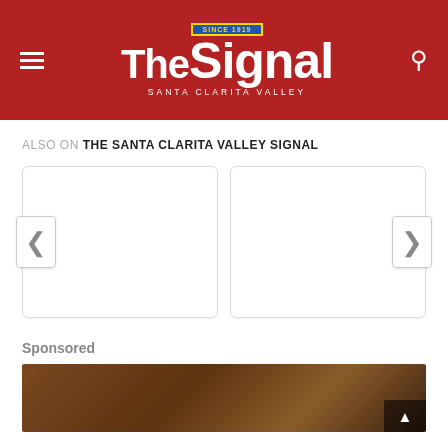The Signal — Santa Clarita Valley
ALSO ON THE SANTA CLARITA VALLEY SIGNAL
[Figure (other): Two empty article card placeholders with left and right navigation arrows for a content carousel]
Sponsored
[Figure (photo): Partial photo of wooden beams/ceiling, partially visible at bottom of page with a scroll-to-top button overlay]